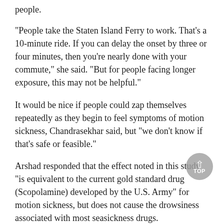people.
"People take the Staten Island Ferry to work. That's a 10-minute ride. If you can delay the onset by three or four minutes, then you're nearly done with your commute," she said. "But for people facing longer exposure, this may not be helpful."
It would be nice if people could zap themselves repeatedly as they begin to feel symptoms of motion sickness, Chandrasekhar said, but "we don't know if that's safe or feasible."
Arshad responded that the effect noted in this study "is equivalent to the current gold standard drug (Scopolamine) developed by the U.S. Army" for motion sickness, but does not cause the drowsiness associated with most seasickness drugs.
Dr. Bernard Cohen, a professor of neurology with the Icahn School of Medicine at Mount Sinai, had a different concern. He worries that the electrical stimulation might cause seizures or significant effects on mental function in some people.